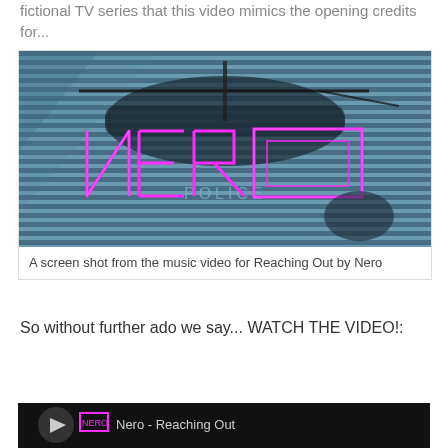fictional TV series that this video mimics the opening credits for...
[Figure (screenshot): A screen shot from the music video for Reaching Out by Nero — shows the word NERO in pink neon outline lettering over a police helicopter image with horizontal stripe pattern background]
A screen shot from the music video for Reaching Out by Nero
So without further ado we say... WATCH THE VIDEO!:
[Figure (screenshot): Bottom portion of an embedded video player showing Nero - Reaching Out]